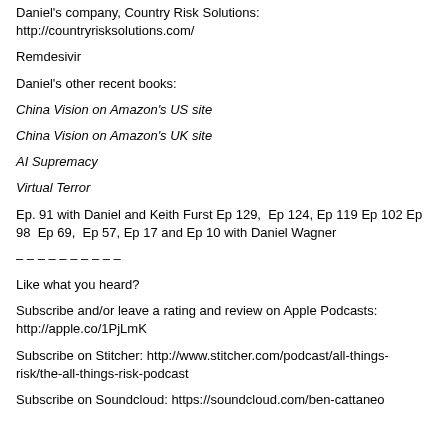Daniel's company, Country Risk Solutions: http://countryrisksolutions.com/
Remdesivir
Daniel's other recent books:
China Vision on Amazon's US site
China Vision on Amazon's UK site
AI Supremacy
Virtual Terror
Ep. 91 with Daniel and Keith Furst Ep 129,  Ep 124, Ep 119 Ep 102 Ep 98  Ep 69,  Ep 57, Ep 17 and Ep 10 with Daniel Wagner
– – – – – – – – – –
Like what you heard?
Subscribe and/or leave a rating and review on Apple Podcasts: http://apple.co/1PjLmK
Subscribe on Stitcher: http://www.stitcher.com/podcast/all-things-risk/the-all-things-risk-podcast
Subscribe on Soundcloud: https://soundcloud.com/ben-cattaneo